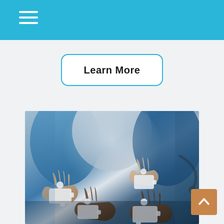Learn More
[Figure (photo): Hands of medical professionals in blue scrubs holding white puzzle pieces together, symbolizing teamwork and collaboration in healthcare. A stethoscope is visible in the background.]